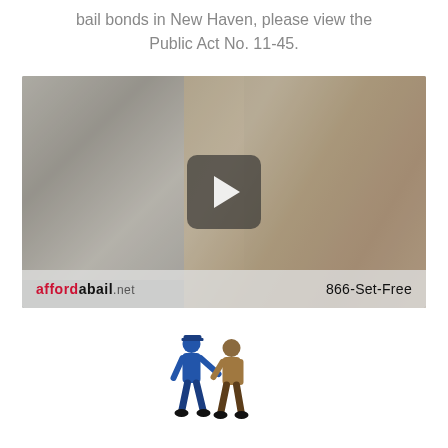bail bonds in New Haven, please view the Public Act No. 11-45.
[Figure (screenshot): Video thumbnail showing two women in distress, with a play button overlay. Bottom bar shows 'affordabail.net' logo in red/black and phone number '866-Set-Free'.]
[Figure (illustration): Small illustration of a police officer arresting a person, two figures in blue tones.]